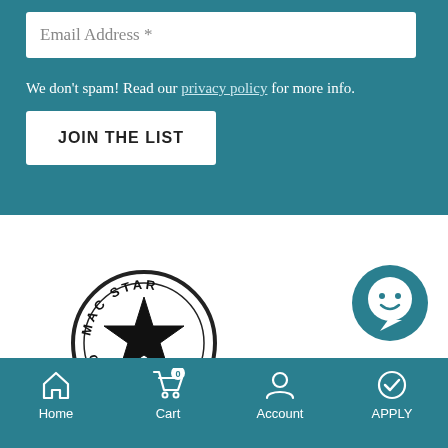Email Address *
We don't spam! Read our privacy policy for more info.
JOIN THE LIST
[Figure (logo): Chat bubble icon — teal circle with white speech bubble and smiley face]
[Figure (logo): Mac Star Computers circular logo with black star in center and text around the border]
Home  Cart  Account  APPLY